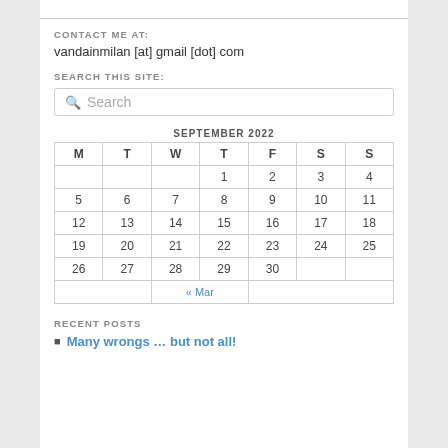CONTACT ME AT:
vandainmilan [at] gmail [dot] com
SEARCH THIS SITE:
| M | T | W | T | F | S | S |
| --- | --- | --- | --- | --- | --- | --- |
|  |  |  | 1 | 2 | 3 | 4 |
| 5 | 6 | 7 | 8 | 9 | 10 | 11 |
| 12 | 13 | 14 | 15 | 16 | 17 | 18 |
| 19 | 20 | 21 | 22 | 23 | 24 | 25 |
| 26 | 27 | 28 | 29 | 30 |  |  |
RECENT POSTS
Many wrongs … but not all!